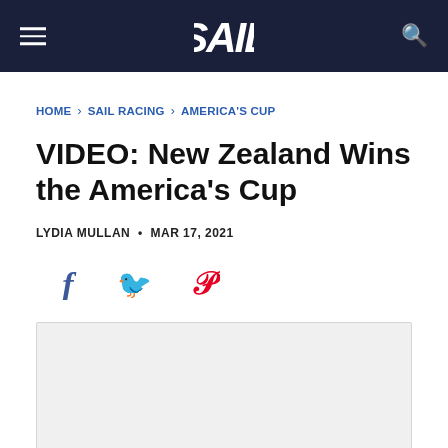SAIL — navigation header with logo, hamburger menu, and search icon
HOME › SAIL RACING › AMERICA'S CUP
VIDEO: New Zealand Wins the America's Cup
LYDIA MULLAN • MAR 17, 2021
[Figure (infographic): Social share icons: Facebook (f), Twitter (bird), Pinterest (P)]
[Figure (other): Video player placeholder — light grey rectangle]